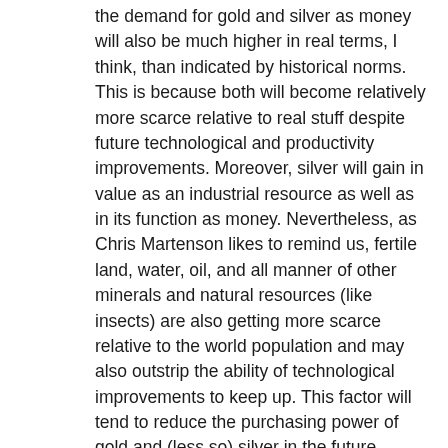the demand for gold and silver as money will also be much higher in real terms, I think, than indicated by historical norms. This is because both will become relatively more scarce relative to real stuff despite future technological and productivity improvements. Moreover, silver will gain in value as an industrial resource as well as in its function as money. Nevertheless, as Chris Martenson likes to remind us, fertile land, water, oil, and all manner of other minerals and natural resources (like insects) are also getting more scarce relative to the world population and may also outstrip the ability of technological improvements to keep up. This factor will tend to reduce the purchasing power of gold and (less so) silver in the future RELATIVE TO WHAT THAT PURCHASING POWER WOULD OTHERWISE BE. I know that Messers. Sinclair and Holter know all this. And so do you and much of your audience. So please forgive my cautionary observations if you deem them redundant, unnecessary or just plain wrong.